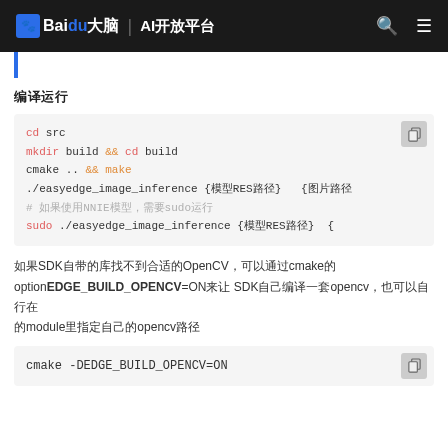Baidu 大脑 | AI开放平台
[Figure (screenshot): Partial scrolled-off navigation link bar]
编译运行
cd src
mkdir build && cd build
cmake .. && make
./easyedge_image_inference {模型RES路径} {图片路径}
# 如果使用NNIE模型，需要sudo运行
sudo ./easyedge_image_inference {模型RES路径} {
如果SDK自带的库找不到合适的OpenCV，可以通过cmake的optionEDGE_BUILD_OPENCV=ON来让 SDK自己编译一套opencv，也可以自行在module里指定自己的opencv路径
cmake -DEDGE_BUILD_OPENCV=ON